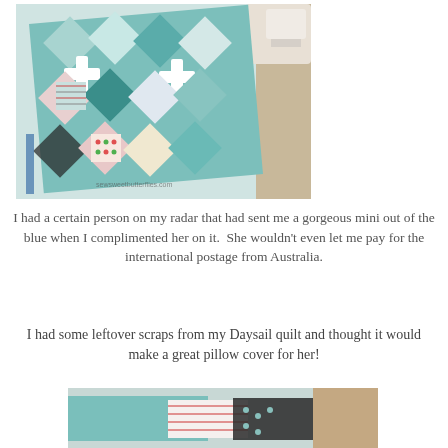[Figure (photo): A patchwork quilt with hexagon pattern in teal, red, white, and black fabrics being sewn on a sewing machine, placed on a light surface.]
I had a certain person on my radar that had sent me a gorgeous mini out of the blue when I complimented her on it.  She wouldn't even let me pay for the international postage from Australia.
I had some leftover scraps from my Daysail quilt and thought it would make a great pillow cover for her!
[Figure (photo): A partially visible photo of teal and striped fabric pieces, likely showing a pillow cover or quilt project in progress.]